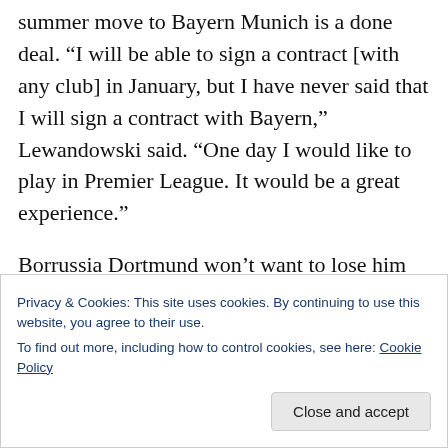summer move to Bayern Munich is a done deal. “I will be able to sign a contract [with any club] in January, but I have never said that I will sign a contract with Bayern,” Lewandowski said. “One day I would like to play in Premier League. It would be a great experience.”
Borrussia Dortmund won’t want to lose him for free in the summer, so a serious bid in January could secure his services. C’mon Arsene, send a taxi for him, get him signed up, you know it
Privacy & Cookies: This site uses cookies. By continuing to use this website, you agree to their use.
To find out more, including how to control cookies, see here: Cookie Policy